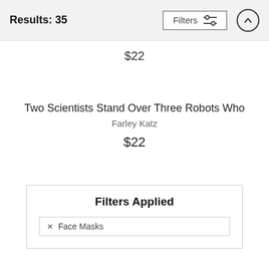Results: 35
$22
Two Scientists Stand Over Three Robots Who
Farley Katz
$22
Filters Applied
× Face Masks